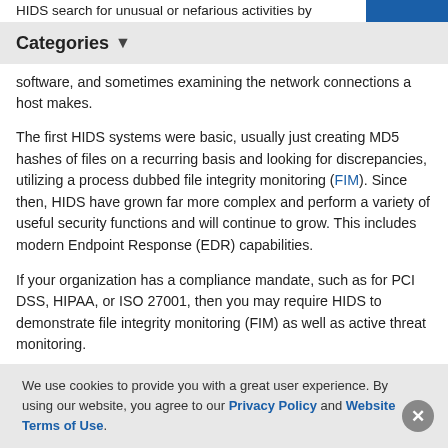HIDS search for unusual or nefarious activities by
Categories ▾
software, and sometimes examining the network connections a host makes.
The first HIDS systems were basic, usually just creating MD5 hashes of files on a recurring basis and looking for discrepancies, utilizing a process dubbed file integrity monitoring (FIM). Since then, HIDS have grown far more complex and perform a variety of useful security functions and will continue to grow. This includes modern Endpoint Response (EDR) capabilities.
If your organization has a compliance mandate, such as for PCI DSS, HIPAA, or ISO 27001, then you may require HIDS to demonstrate file integrity monitoring (FIM) as well as active threat monitoring.
We use cookies to provide you with a great user experience. By using our website, you agree to our Privacy Policy and Website Terms of Use.